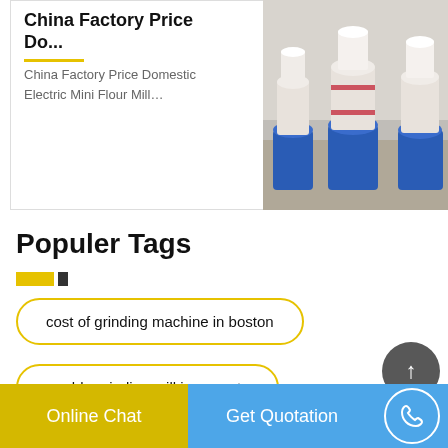China Factory Price Do...
China Factory Price Domestic Electric Mini Flour Mill…
[Figure (photo): Industrial flour mill machines with white covers and blue bases in a factory setting]
Populer Tags
cost of grinding machine in boston
marble grinding mill in vanuatu
Online Chat
Get Quotation